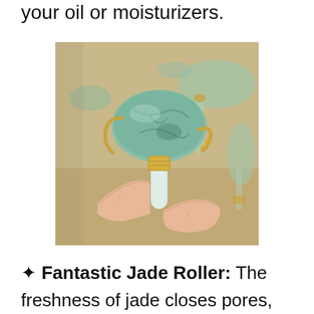your oil or moisturizers.
[Figure (photo): Close-up photo of a hand holding a jade roller, showing the jade stone head with gold metal hardware, with more jade rollers and stones blurred in the background.]
✦ Fantastic Jade Roller: The freshness of jade closes pores, while the roller promotes blood circulation, which can reduce puffiness